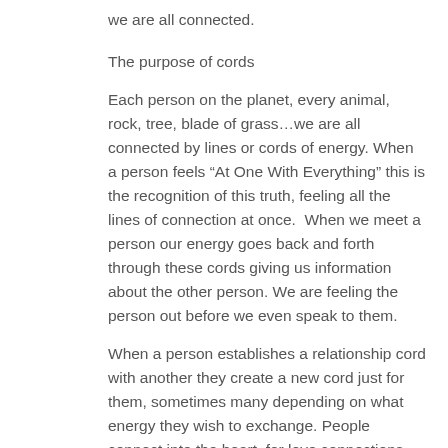we are all connected.
The purpose of cords
Each person on the planet, every animal, rock, tree, blade of grass…we are all connected by lines or cords of energy. When a person feels “At One With Everything” this is the recognition of this truth, feeling all the lines of connection at once.  When we meet a person our energy goes back and forth through these cords giving us information about the other person. We are feeling the person out before we even speak to them.
When a person establishes a relationship cord with another they create a new cord just for them, sometimes many depending on what energy they wish to exchange. People connect into the heart, for love connections, the second chakra for sexual and creative connections, third chakra for power connections, and more. There are also cords from